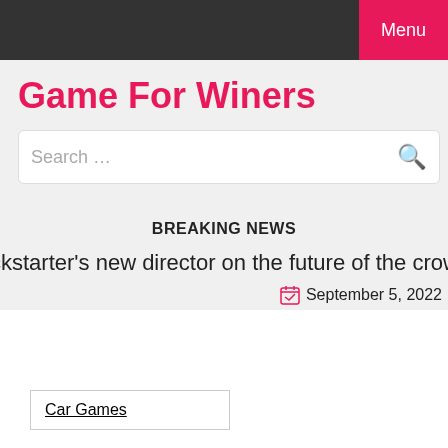Menu
Game For Winers
Search …
BREAKING NEWS
ckstarter's new director on the future of the crowdfunding pla
September 5, 2022
Car Games